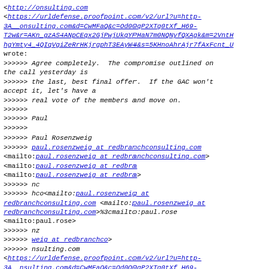<http://onsulting.com
<https://urldefense.proofpoint.com/v2/url?u=http-3A__onsulting.com&d=CwMFaQ&c=Od00qP2XTg0tXf_H69-T2w&r=AKn_gzAS4ANpCEqx2GjPwjUkqYPHaN7m0NQNyfQXAgk&m=2VnthhgYmty4_4QIqVgiZeRrHKjrgphT3EAyW4&s=5KHnoAhrAjr7fAxFcnt_U wrote:
>>>>>> Agree completely.  The compromise outlined on the call yesterday is
>>>>>> the last, best final offer.  If the GAC won't accept it, let's have a
>>>>>> real vote of the members and move on.
>>>>>>
>>>>>> Paul
>>>>>>
>>>>>> Paul Rosenzweig
>>>>>> paul.rosenzweig at redbranchconsulting.com <mailto:paul.rosenzweig at redbranchconsulting.com>
<mailto:paul.rosenzweig at redbra
<mailto:paul.rosenzweig at redbra>
>>>>>> nc
>>>>>> hco<mailto:paul.rosenzweig at redbranchconsulting.com <mailto:paul.rosenzweig at redbranchconsulting.com>%3cmailto:paul.rose
<mailto:paul.rose>
>>>>>> nz
>>>>>> weig at redbranchco>
>>>>>> nsulting.com
<https://urldefense.proofpoint.com/v2/url?u=http-3A__nsulting.com&d=CwMFaQ&c=Od00qP2XTg0tXf_H69-T2w&r=AKn_gzAS4ANpCEqx2GjPwjUkqYPHaN7m0NQNyfQXAgk&m=2VntH